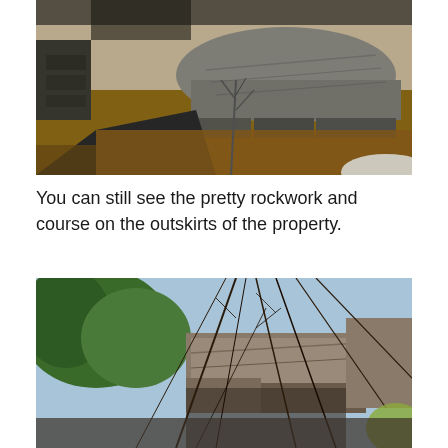[Figure (photo): Outdoor photo showing large flat stone rocks and a paved path with fallen leaves on the ground, bare trees and shrubs visible, sunlight creating shadows, rockwork structure visible at an outdoor property.]
You can still see the pretty rockwork and course on the outskirts of the property.
[Figure (photo): Outdoor photo showing large stone rock formations partially obscured by green trees and bare branching shrubs/vines, with a sky visible in the background, taken on the outskirts of a property.]